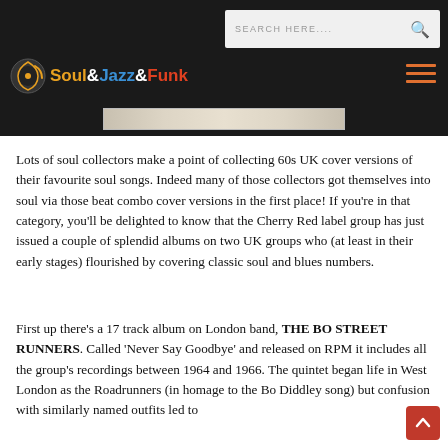Soul&Jazz&Funk — Search bar and navigation header
[Figure (photo): Partial view of an album cover image strip at the top of the content area]
Lots of soul collectors make a point of collecting 60s UK cover versions of their favourite soul songs. Indeed many of those collectors got themselves into soul via those beat combo cover versions in the first place! If you're in that category, you'll be delighted to know that the Cherry Red label group has just issued a couple of splendid albums on two UK groups who (at least in their early stages) flourished by covering classic soul and blues numbers.
First up there's a 17 track album on London band, THE BO STREET RUNNERS. Called 'Never Say Goodbye' and released on RPM it includes all the group's recordings between 1964 and 1966. The quintet began life in West London as the Roadrunners (in homage to the Bo Diddley song) but confusion with similarly named outfits led to